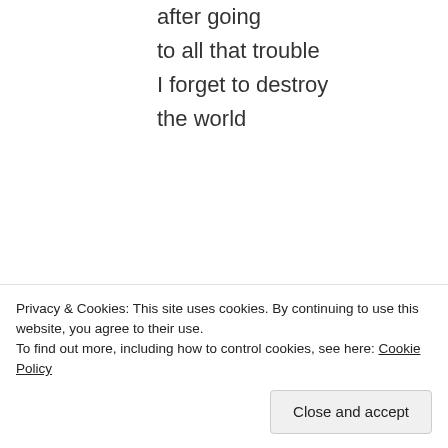after going
to all that trouble
I forget to destroy
the world
.
Share this:
Privacy & Cookies: This site uses cookies. By continuing to use this website, you agree to their use.
To find out more, including how to control cookies, see here: Cookie Policy
Close and accept